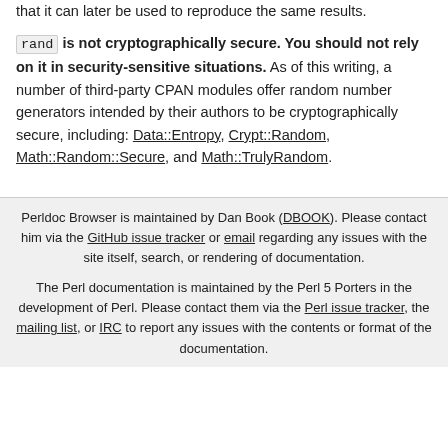that it can later be used to reproduce the same results.
rand is not cryptographically secure. You should not rely on it in security-sensitive situations. As of this writing, a number of third-party CPAN modules offer random number generators intended by their authors to be cryptographically secure, including: Data::Entropy, Crypt::Random, Math::Random::Secure, and Math::TrulyRandom.
Perldoc Browser is maintained by Dan Book (DBOOK). Please contact him via the GitHub issue tracker or email regarding any issues with the site itself, search, or rendering of documentation. The Perl documentation is maintained by the Perl 5 Porters in the development of Perl. Please contact them via the Perl issue tracker, the mailing list, or IRC to report any issues with the contents or format of the documentation.